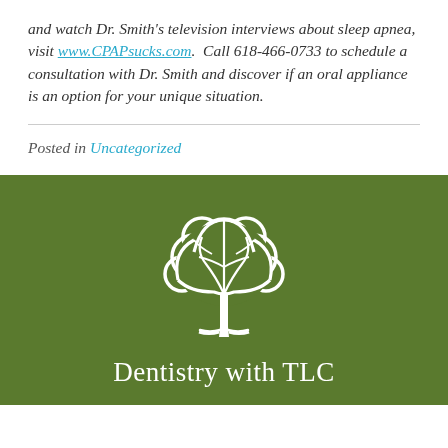and watch Dr. Smith's television interviews about sleep apnea, visit www.CPAPsucks.com. Call 618-466-0733 to schedule a consultation with Dr. Smith and discover if an oral appliance is an option for your unique situation.
Posted in Uncategorized
[Figure (logo): Dentistry with TLC logo: white tree illustration above text 'Dentistry with TLC' on a green background]